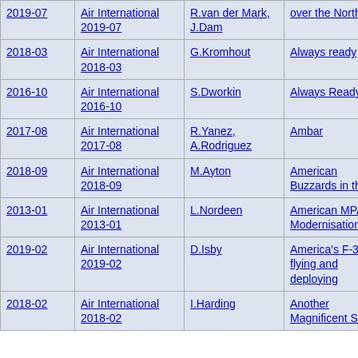| Date | Publication | Author | Title | Category |
| --- | --- | --- | --- | --- |
| 2019-07 | Air International 2019-07 | R.van der Mark, J.Dam | over the North Sea | Military |
| 2018-03 | Air International 2018-03 | G.Kromhout | Always ready | Military |
| 2016-10 | Air International 2016-10 | S.Dworkin | Always Ready | Military |
| 2017-08 | Air International 2017-08 | R.Yanez, A.Rodriguez | Ambar | Military |
| 2018-09 | Air International 2018-09 | M.Ayton | American Buzzards in the UK | Military |
| 2013-01 | Air International 2013-01 | L.Nordeen | American MPA Modernisation | Military |
| 2019-02 | Air International 2019-02 | D.Isby | America's F-35s: flying and deploying | Military |
| 2018-02 | Air International 2018-02 | I.Harding | Another Magnificent Seven | Military |